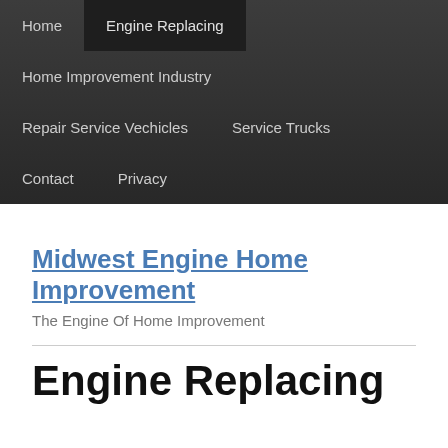Home | Engine Replacing
Home Improvement Industry
Repair Service Vechicles
Service Trucks
Contact
Privacy
Midwest Engine Home Improvement
The Engine Of Home Improvement
Engine Replacing